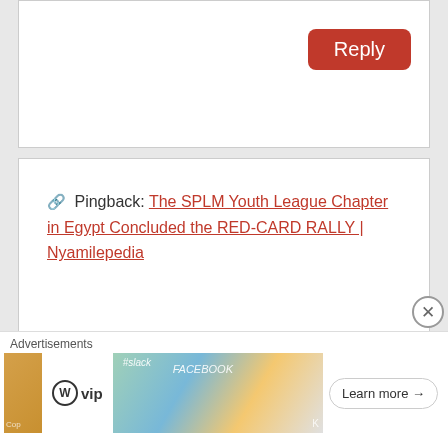Reply
Pingback: The SPLM Youth League Chapter in Egypt Concluded the RED-CARD RALLY | Nyamilepedia
Lon
July 25, 2015 at 2:13 am
Fashionable embellishments included braiding, borders, embroidery, lace,
[Figure (screenshot): Advertisements bar at bottom with WordPress VIP logo, card images, and Learn more button]
Advertisements